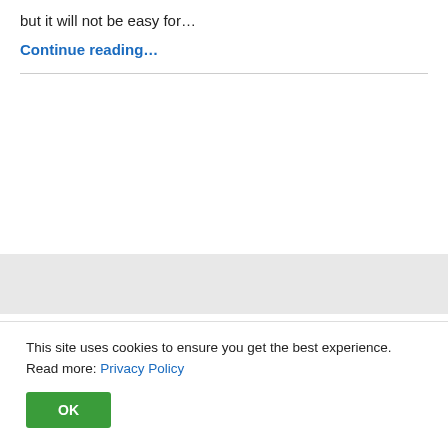but it will not be easy for…
Continue reading…
This site uses cookies to ensure you get the best experience. Read more: Privacy Policy
OK